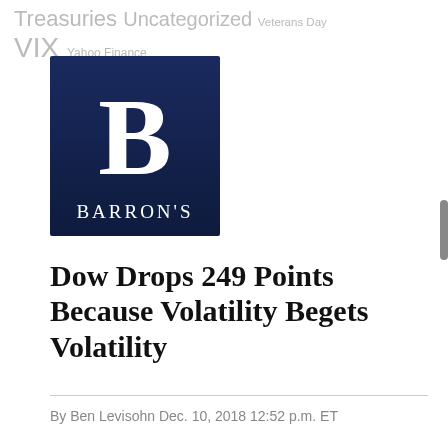Treasuries Uncategorized Veterans Day VIX Yahoo Finance
[Figure (logo): Barron's logo — dark navy blue square with a large serif capital B and BARRON'S text below in white serif letters]
Dow Drops 249 Points Because Volatility Begets Volatility
By Ben Levisohn Dec. 10, 2018 12:52 p.m. ET